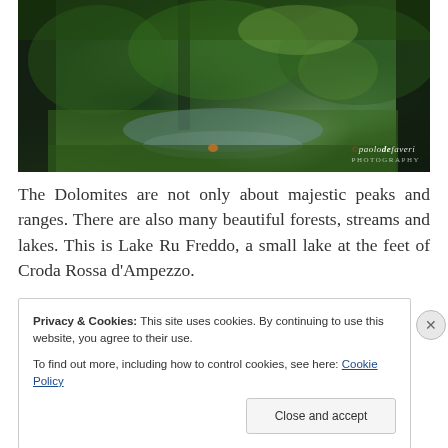[Figure (photo): Photograph of Lake Ru Freddo in the Dolomites — a forested scene with tall pine trees, lush green undergrowth, moss, and a small reflective lake or stream visible through the trees. HDR-style photography. Watermark: © paolodefaveri photographer.]
The Dolomites are not only about majestic peaks and ranges. There are also many beautiful forests, streams and lakes. This is Lake Ru Freddo, a small lake at the feet of Croda Rossa d'Ampezzo.
Privacy & Cookies: This site uses cookies. By continuing to use this website, you agree to their use.
To find out more, including how to control cookies, see here: Cookie Policy
Close and accept